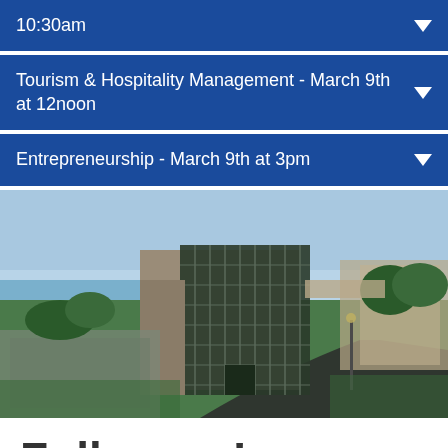10:30am
Tourism & Hospitality Management - March 9th at 12noon
Entrepreneurship - March 9th at 3pm
[Figure (photo): Exterior photo of a modern university building with glass curtain wall facade, stone cladding, surrounded by green lawn, trees, and a curved path. A body of water visible in the background on a clear day.]
Follow us!